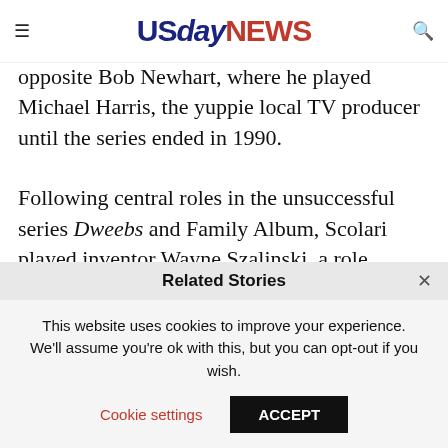USdayNEWS
opposite Bob Newhart, where he played Michael Harris, the yuppie local TV producer until the series ended in 1990.

Following central roles in the unsuccessful series Dweebs and Family Album, Scolari played inventor Wayne Szalinski, a role originated on film by producer and actor Rick Moranis, in the TV adaptation of the Disney film Honey, I Shr...
Related Stories
This website uses cookies to improve your experience. We'll assume you're ok with this, but you can opt-out if you wish. Cookie settings ACCEPT